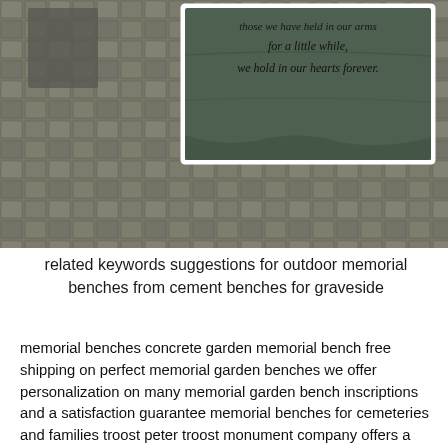[Figure (photo): Photo of interlocking stone/paver bricks in gray tones, with an inset image of a dark green engraved memorial stone tablet with italic text reading: 'those we have held in our arms for a little while, we hold in our hearts forever.']
related keywords suggestions for outdoor memorial benches from cement benches for graveside
memorial benches concrete garden memorial bench free shipping on perfect memorial garden benches we offer personalization on many memorial garden bench inscriptions and a satisfaction guarantee memorial benches for cemeteries and families troost peter troost monument company offers a complete selection of granite memorial benches with prices starting at just 2395 we sell design build deliver and install granite memorial benches graveside benches cremation benches gravestone benches monubenches bench headstones and cemetery bench monuments graveside memorial benches cemetery granite benches graveside memorial benches for personalized remembrance granite memorial benches for cemeteries are a beautiful way to memorialize a loved one the bench will stand alone as attention addition to the grave but